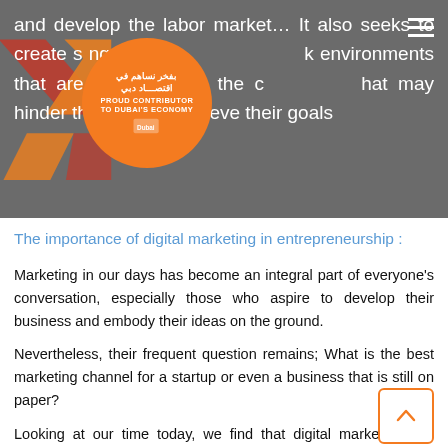and develop the labor market… It also seeks to create strong and competitive work environments that are able to overcome all the challenges that may hinder their way to achieve their goals
[Figure (logo): X-shaped logo overlaid with an orange circular badge reading 'PROUD CONTRIBUTOR TO DUBAI'S ECONOMY' in Arabic and English, with a Dubai Economy icon, on a grey background with hamburger menu icon]
The importance of digital marketing in entrepreneurship :
Marketing in our days has become an integral part of everyone's conversation, especially those who aspire to develop their business and embody their ideas on the ground.
Nevertheless, their frequent question remains; What is the best marketing channel for a startup or even a business that is still on paper?
Looking at our time today, we find that digital marketing has swept the markets, and began to achieve the highest level of sales and profits. As it has many advantages including: